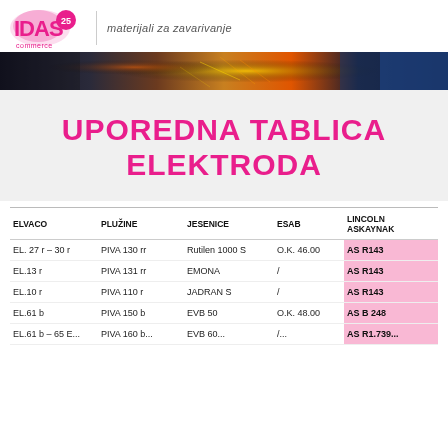IDAS commerce 25 | materijali za zavarivanje
[Figure (photo): Welding sparks banner photo]
UPOREDNA TABLICA ELEKTRODA
| ELVACO | PLUŽINE | JESENICE | ESAB | LINCOLN ASKAYNAK |
| --- | --- | --- | --- | --- |
| EL. 27 r – 30 r | PIVA 130 rr | Rutilen 1000 S | O.K. 46.00 | AS R143 |
| EL.13 r | PIVA 131 rr | EMONA | / | AS R143 |
| EL.10 r | PIVA 110 r | JADRAN  S | / | AS R143 |
| EL.61 b | PIVA 150 b | EVB  50 | O.K. 48.00 | AS B 248 |
| EL.61 b - 65 E... | PIVA 160 b... | EVB 60... | /... | AS R1.739... |